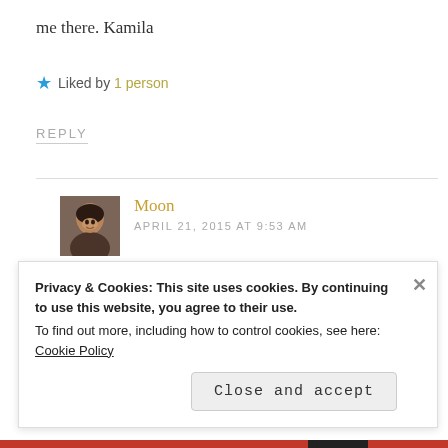me there. Kamila
★ Liked by 1 person
REPLY
Moon
APRIL 21, 2015 AT 9:53 AM
I am glad you liked the tour 🙂 Thank you
Privacy & Cookies: This site uses cookies. By continuing to use this website, you agree to their use.
To find out more, including how to control cookies, see here:
Cookie Policy
Close and accept